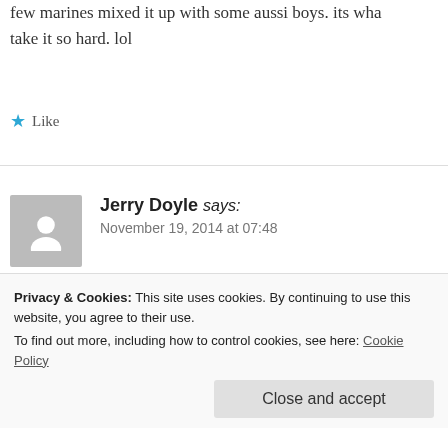few marines mixed it up with some aussi boys. its wha take it so hard. lol
★ Like
Jerry Doyle says:
November 19, 2014 at 07:48
Look this article offends me. I was a supply ncoic in a everybody that went through my supply room . I did 14 same shit with the infantry . So that word pog offends m been able kick down doors or go through convoys but I nco first before anything. It's funny how all you infantr
Privacy & Cookies: This site uses cookies. By continuing to use this website, you agree to their use.
To find out more, including how to control cookies, see here: Cookie Policy
Close and accept